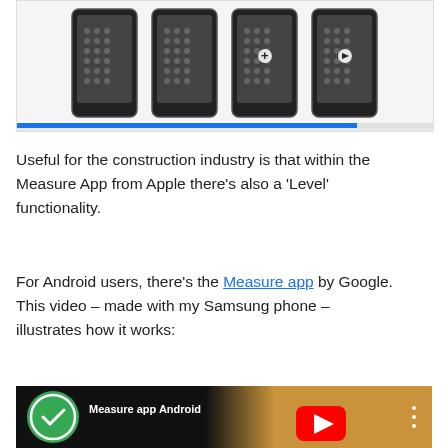[Figure (screenshot): Screenshot showing multiple iPhone screens displaying the Measure app, with a blue progress indicator bar at the bottom on a white/light gray background.]
Useful for the construction industry is that within the Measure App from Apple there’s also a ‘Level’ functionality.
For Android users, there’s the Measure app by Google. This video – made with my Samsung phone – illustrates how it works:
[Figure (screenshot): YouTube video thumbnail showing 'Measure app Android' with a green circle checkmark icon on the left, three-dot menu on the right, and a YouTube play button in the center over a background image.]